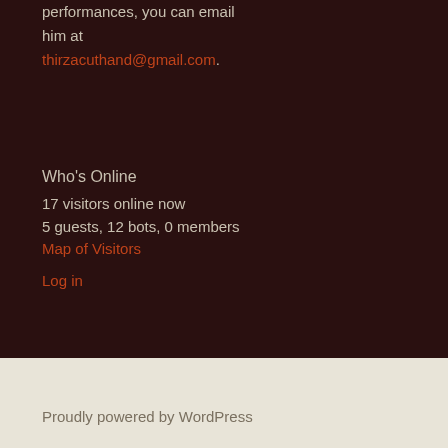performances, you can email him at thirzacuthand@gmail.com.
Who's Online
17 visitors online now
5 guests, 12 bots, 0 members
Map of Visitors
Log in
Proudly powered by WordPress